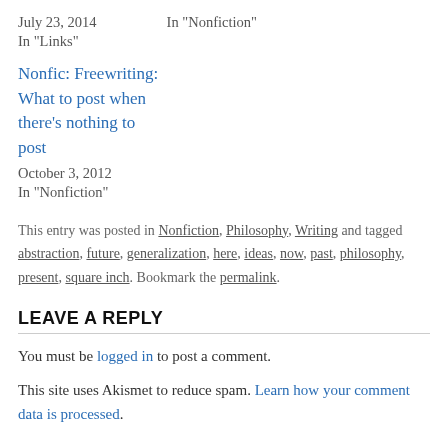July 23, 2014
In "Links"

In "Nonfiction"
Nonfic: Freewriting: What to post when there's nothing to post
October 3, 2012
In "Nonfiction"
This entry was posted in Nonfiction, Philosophy, Writing and tagged abstraction, future, generalization, here, ideas, now, past, philosophy, present, square inch. Bookmark the permalink.
LEAVE A REPLY
You must be logged in to post a comment.
This site uses Akismet to reduce spam. Learn how your comment data is processed.